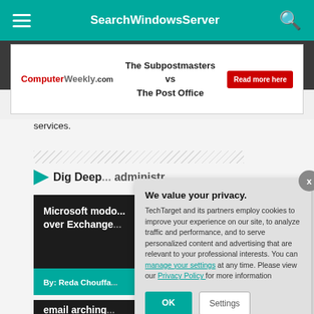SearchWindowsServer
[Figure (screenshot): Advertisement banner for ComputerWeekly.com: 'The Subpostmasters vs The Post Office' with Read more here button]
services.
Dig Deep... administr...
[Figure (screenshot): Article card: Microsoft modo... over Exchange... By: Reda Chouffa...]
[Figure (screenshot): Article card: email archivin...]
We value your privacy. TechTarget and its partners employ cookies to improve your experience on our site, to analyze traffic and performance, and to serve personalized content and advertising that are relevant to your professional interests. You can manage your settings at any time. Please view our Privacy Policy for more information